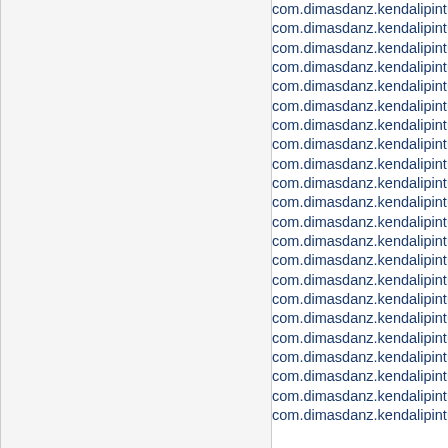com.dimasdanz.kendalipintu
com.dimasdanz.kendalipintu
com.dimasdanz.kendalipintu
com.dimasdanz.kendalipintu
com.dimasdanz.kendalipintu
com.dimasdanz.kendalipintu
com.dimasdanz.kendalipintu
com.dimasdanz.kendalipintu
com.dimasdanz.kendalipintu
com.dimasdanz.kendalipintu
com.dimasdanz.kendalipintu
com.dimasdanz.kendalipintu
com.dimasdanz.kendalipintu
com.dimasdanz.kendalipintu
com.dimasdanz.kendalipintu
com.dimasdanz.kendalipintu
com.dimasdanz.kendalipintu
com.dimasdanz.kendalipintu
com.dimasdanz.kendalipintu
com.dimasdanz.kendalipintu
com.dimasdanz.kendalipintu
com.dimasdanz.kendalipintu